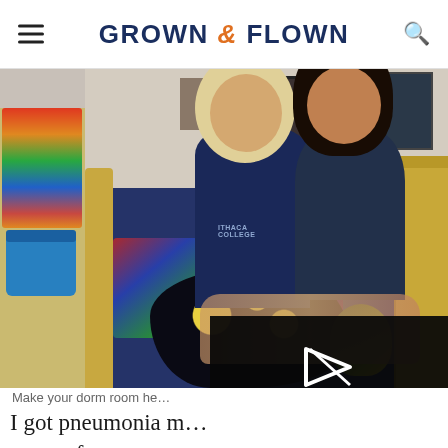GROWN & FLOWN
[Figure (photo): Two young women smiling and sitting together on a bed in a college dorm room, with photos on the wall behind them, a colorful quilt, and a wooden dresser visible. A video error overlay reads: The video cannot be played in this browser. (Error Code: 242632)]
Make your dorm room he...
I got pneumonia m... my professors nea... catch up until I went to his assistant. I didn't figure out how to perfectly use our online system for homework until somewhere around week three...